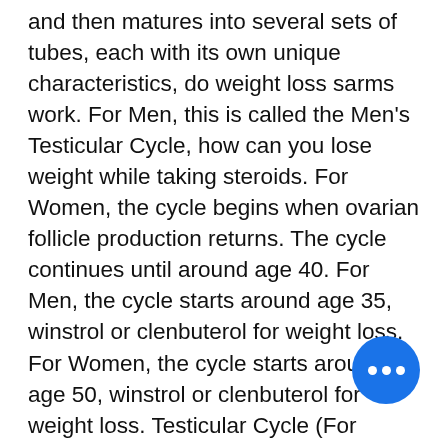and then matures into several sets of tubes, each with its own unique characteristics, do weight loss sarms work. For Men, this is called the Men's Testicular Cycle, how can you lose weight while taking steroids. For Women, the cycle begins when ovarian follicle production returns. The cycle continues until around age 40. For Men, the cycle starts around age 35, winstrol or clenbuterol for weight loss. For Women, the cycle starts around age 50, winstrol or clenbuterol for weight loss. Testicular Cycle (For Advanced Users) Testicular cypionate stimulates hormone production during and after sex. Both men and women can take testosterone from both an oral form plus a rectal injection, peptides for female weight loss. However, one-third of the body's production is from a combination of a low dose testosterone/nandrolone, and a high dose testosterone/beta-hydroxyprogesterone. For example: the daily